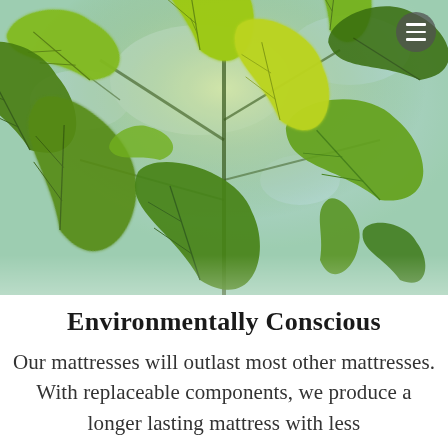[Figure (photo): Close-up photograph of bright green maple leaves shot from below against a light sky, with strong backlighting creating vivid green tones. A circular dark grey hamburger menu icon is visible in the top-right corner.]
Environmentally Conscious
Our mattresses will outlast most other mattresses. With replaceable components, we produce a longer lasting mattress with less